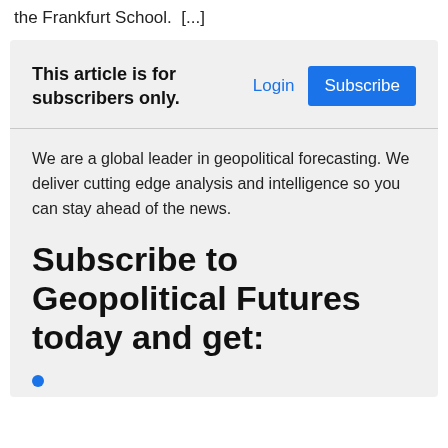the Frankfurt School.  [...]
This article is for subscribers only.
Login
Subscribe
We are a global leader in geopolitical forecasting. We deliver cutting edge analysis and intelligence so you can stay ahead of the news.
Subscribe to Geopolitical Futures today and get:
...